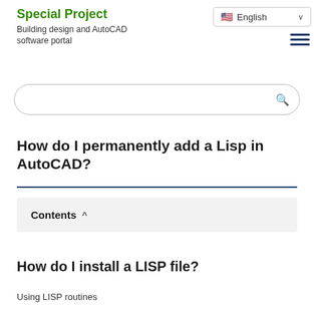Special Project
Building design and AutoCAD software portal
How do I permanently add a Lisp in AutoCAD?
Contents
How do I install a LISP file?
Using LISP routines